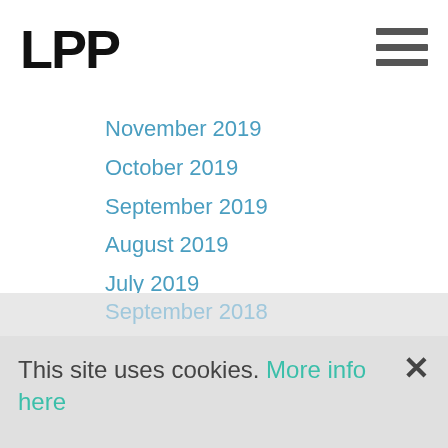LPP
November 2019
October 2019
September 2019
August 2019
July 2019
June 2019
May 2019
April 2019
March 2019
October 2018
September 2018
July 2018
June 2018
May 2018
This site uses cookies. More info here